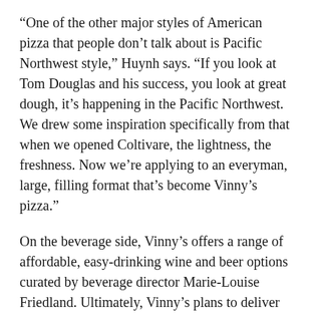“One of the other major styles of American pizza that people don’t talk about is Pacific Northwest style,” Huynh says. “If you look at Tom Douglas and his success, you look at great dough, it’s happening in the Pacific Northwest. We drew some inspiration specifically from that when we opened Coltivare, the lightness, the freshness. Now we’re applying to an everyman, large, filling format that’s become Vinny’s pizza.”
On the beverage side, Vinny’s offers a range of affordable, easy-drinking wine and beer options curated by beverage director Marie-Louise Friedland. Ultimately, Vinny’s plans to deliver both its pizzas as well as beer and wine, which will make it an appealing option for area residents who want better drinking options than they can find in nearby grocery stores.